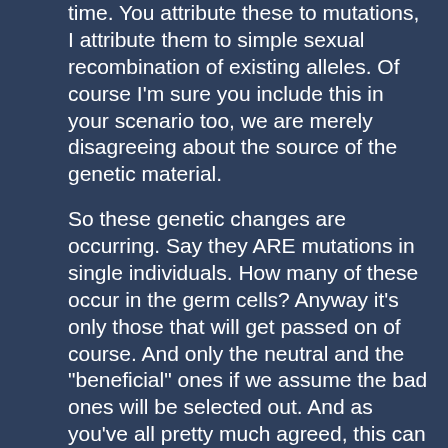time. You attribute these to mutations, I attribute them to simple sexual recombination of existing alleles. Of course I'm sure you include this in your scenario too, we are merely disagreeing about the source of the genetic material.
So these genetic changes are occurring. Say they ARE mutations in single individuals. How many of these occur in the germ cells? Anyway it's only those that will get passed on of course. And only the neutral and the "beneficial" ones if we assume the bad ones will be selected out. And as you've all pretty much agreed, this can take a very long time. If mutations could save the cheetah it will be a very long time if they can hold out that long. Anyway...
So after a generation or two the genetic changes start to show up in the phenotype as the offspring and the offspring's offspring mate together. Or maybe even in the first generation if the genetic change is dominant.